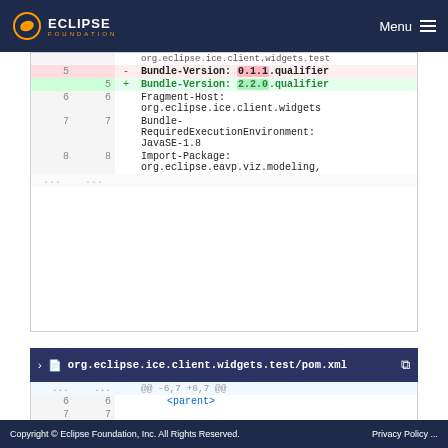Eclipse Foundation — Menu
[Figure (screenshot): Code diff view showing MANIFEST.MF changes: line 5 removed Bundle-Version: 0.1.1.qualifier, line 5 added Bundle-Version: 2.2.0.qualifier, lines 6-8 showing Fragment-Host, Bundle-RequiredExecutionEnvironment, Import-Package]
[Figure (screenshot): File header for org.eclipse.ice.client.widgets.test/pom.xml with collapse chevron and copy icon]
[Figure (screenshot): Code diff view showing pom.xml with @@ -6,7 +6,7 @@ hunk header, lines 6-8 showing <parent>, empty line, <groupId>org.eclipse.ice</groupId>, <artifactId>org.eclipse.ice.build</a]
Copyright © Eclipse Foundation, Inc. All Rights Reserved.    Privacy Policy ...